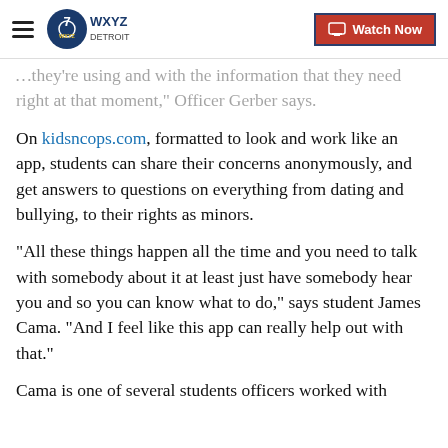WXYZ Detroit | Watch Now
...they're using and with the information that they need right at that moment," Officer Gerber says.
On kidsncops.com, formatted to look and work like an app, students can share their concerns anonymously, and get answers to questions on everything from dating and bullying, to their rights as minors.
"All these things happen all the time and you need to talk with somebody about it at least just have somebody hear you and so you can know what to do," says student James Cama. "And I feel like this app can really help out with that."
Cama is one of several students officers worked with